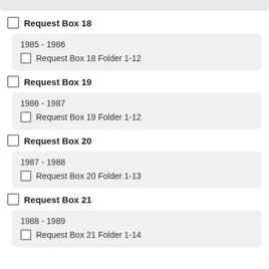Request Box 18
1985 - 1986
Request Box 18 Folder 1-12
Request Box 19
1986 - 1987
Request Box 19 Folder 1-12
Request Box 20
1987 - 1988
Request Box 20 Folder 1-13
Request Box 21
1988 - 1989
Request Box 21 Folder 1-14